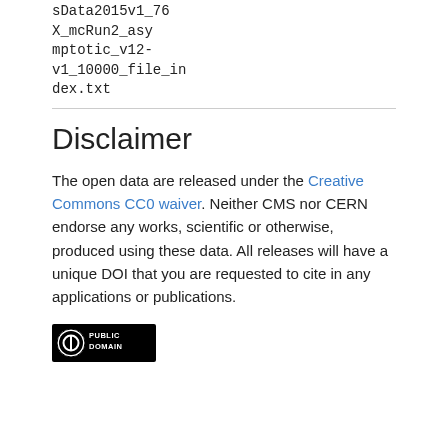sData2015v1_76
X_mcRun2_asymptotic_v12-v1_10000_file_index.txt
Disclaimer
The open data are released under the Creative Commons CC0 waiver. Neither CMS nor CERN endorse any works, scientific or otherwise, produced using these data. All releases will have a unique DOI that you are requested to cite in any applications or publications.
[Figure (logo): Creative Commons CC0 Public Domain badge — circle with zero symbol and text PUBLIC DOMAIN]